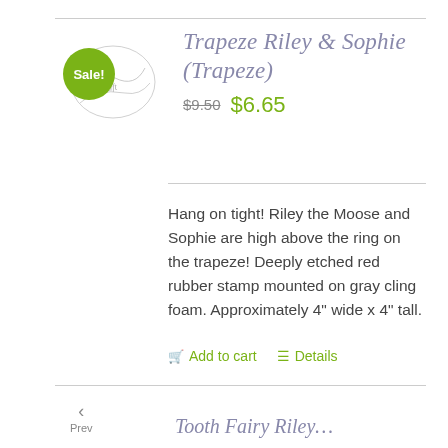[Figure (logo): Crazy Craft logo with Sale! badge overlay on product thumbnail]
Trapeze Riley & Sophie (Trapeze)
$9.50  $6.65
Hang on tight! Riley the Moose and Sophie are high above the ring on the trapeze! Deeply etched red rubber stamp mounted on gray cling foam. Approximately 4" wide x 4" tall.
Add to cart  Details